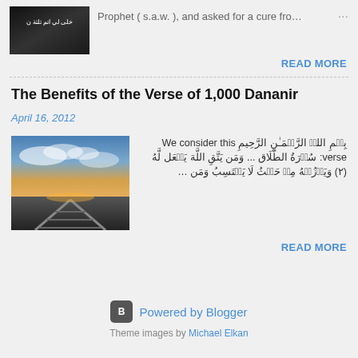[Figure (photo): Thumbnail image with Arabic text overlay on dark background]
Prophet ( s.a.w. ), and asked for a cure from…
READ MORE
The Benefits of the Verse of 1,000 Dananir
April 16, 2012
[Figure (photo): Railway tracks extending into a cloudy sunset sky]
بِسۡمِ اللہِ الرَّحۡمَـٰنِ الرَّحِيمِ We consider this verse: سُوۡرَةُ الطَّلَاق ... وَمَن يَتَّقِ اللَّهَ يَجۡعَل لَّهُ مَخۡرَجًا (٢) وَيَرۡزُقۡهُ مِنۡ حَيۡثُ لَا يَحۡتَسِبُ وَمَن …
READ MORE
Powered by Blogger
Theme images by Michael Elkan